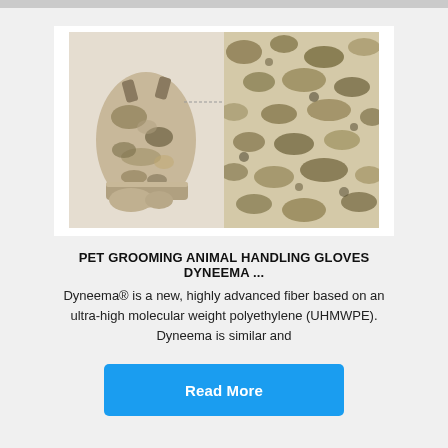[Figure (photo): Product photo showing a camouflage-patterned pet grooming/animal handling glove on the left and a close-up of the camouflage fabric texture on the right, displayed side by side on a white background.]
PET GROOMING ANIMAL HANDLING GLOVES DYNEEMA ...
Dyneema® is a new, highly advanced fiber based on an ultra-high molecular weight polyethylene (UHMWPE). Dyneema is similar and
Read More